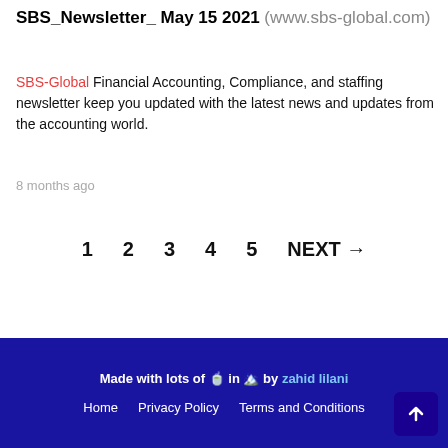SBS_Newsletter_ May 15 2021 (www.sbs-global.com)
SBS-Global Financial Accounting, Compliance, and staffing newsletter keep you updated with the latest news and updates from the accounting world.
8 months ago
1 2 3 4 5 NEXT →
Made with lots of 🍵 in 🏔️ by zahid lilani | Home | Privacy Policy | Terms and Conditions